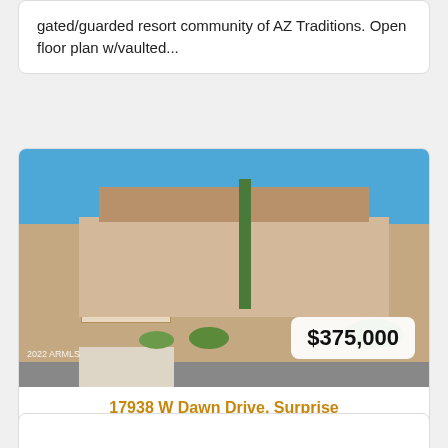gated/guarded resort community of AZ Traditions. Open floor plan w/vaulted...
[Figure (photo): Exterior photo of a single-story tan/beige stucco home with a two-car garage, tall saguaro cactus in the front yard, desert landscaping with shrubs, and a real estate sign. Clear blue sky. Price badge shows $375,000. Watermark reads 2022 ARMLS.]
17938 W Dawn Drive, Surprise